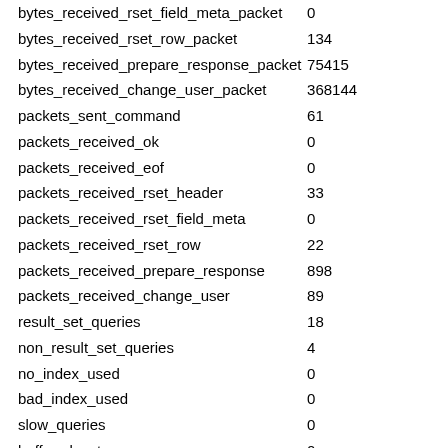| name | value |
| --- | --- |
| bytes_received_rset_field_meta_packet | 0 |
| bytes_received_rset_row_packet | 134 |
| bytes_received_prepare_response_packet | 75415 |
| bytes_received_change_user_packet | 368144 |
| packets_sent_command | 61 |
| packets_received_ok | 0 |
| packets_received_eof | 0 |
| packets_received_rset_header | 33 |
| packets_received_rset_field_meta | 0 |
| packets_received_rset_row | 22 |
| packets_received_prepare_response | 898 |
| packets_received_change_user | 89 |
| result_set_queries | 18 |
| non_result_set_queries | 4 |
| no_index_used | 0 |
| bad_index_used | 0 |
| slow_queries | 0 |
| buffered_sets | 0 |
| unbuffered_sets | 0 |
| ps_buffered_sets | 18 |
| ps_unbuffered_sets | 0 |